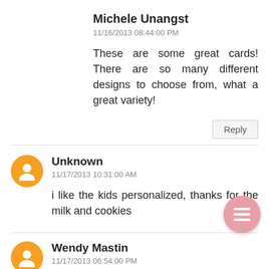Michele Unangst
11/16/2013 08:44:00 PM
These are some great cards! There are so many different designs to choose from, what a great variety!
Reply
Unknown
11/17/2013 10:31:00 AM
i like the kids personalized, thanks for the milk and cookies
[Figure (illustration): Pink circular FAB button with hamburger menu icon]
Wendy Mastin
11/17/2013 06:54:00 PM